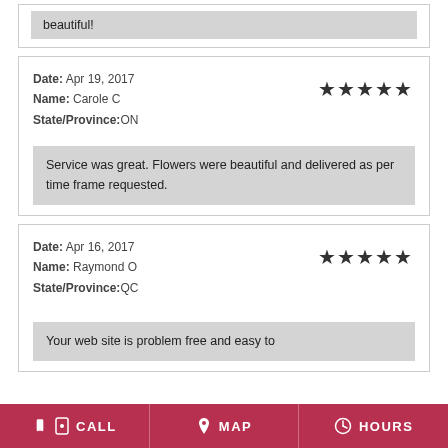beautiful!
Date: Apr 19, 2017
Name: Carole C
State/Province:ON
★★★★★
Service was great. Flowers were beautiful and delivered as per time frame requested.
Date: Apr 16, 2017
Name: Raymond O
State/Province:QC
★★★★★
Your web site is problem free and easy to
CALL  MAP  HOURS